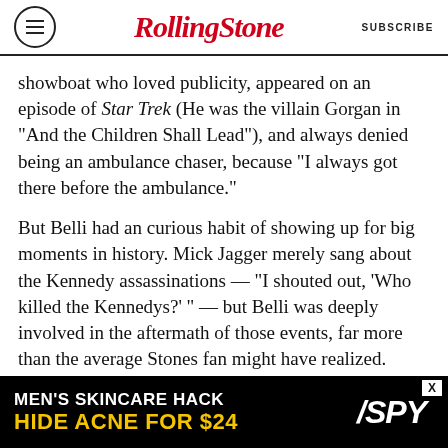Rolling Stone | SUBSCRIBE
showboat who loved publicity, appeared on an episode of Star Trek (He was the villain Gorgan in "And the Children Shall Lead"), and always denied being an ambulance chaser, because "I always got there before the ambulance."
But Belli had an curious habit of showing up for big moments in history. Mick Jagger merely sang about the Kennedy assassinations — "I shouted out, 'Who killed the Kennedys?' " — but Belli was deeply involved in the aftermath of those events, far more than the average Stones fan might have realized. When Jack Ruby went on trial for shooting Lee Harvey Oswald, Belli was his
[Figure (advertisement): Advertisement banner: MEN'S SKINCARE HACK / HIDE ACNE FOR $24 with SPY logo on black background]